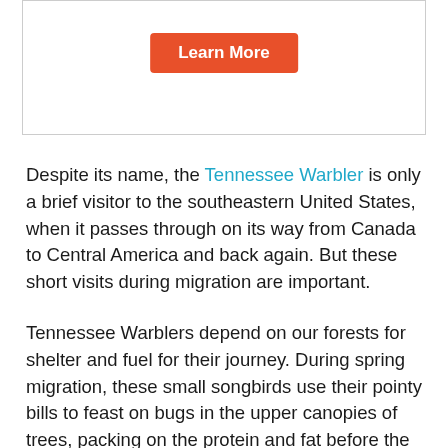[Figure (other): A bordered box containing a 'Learn More' button with orange/red background and white text]
Despite its name, the Tennessee Warbler is only a brief visitor to the southeastern United States, when it passes through on its way from Canada to Central America and back again. But these short visits during migration are important.
Tennessee Warblers depend on our forests for shelter and fuel for their journey. During spring migration, these small songbirds use their pointy bills to feast on bugs in the upper canopies of trees, packing on the protein and fat before the frenzy of breeding season begins. On the return trip in the fall, Tennessee Warblers alter their diet and spend more